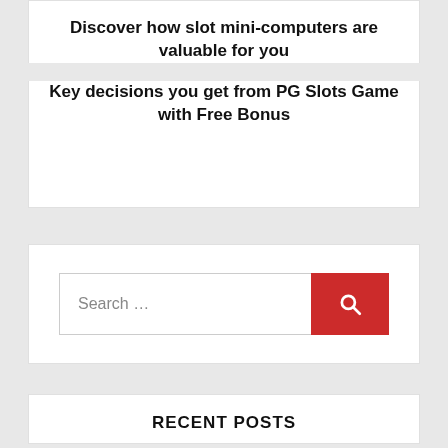Discover how slot mini-computers are valuable for you
Key decisions you get from PG Slots Game with Free Bonus
[Figure (other): Search bar with text input field reading 'Search ...' and a red search button with magnifying glass icon]
RECENT POSTS